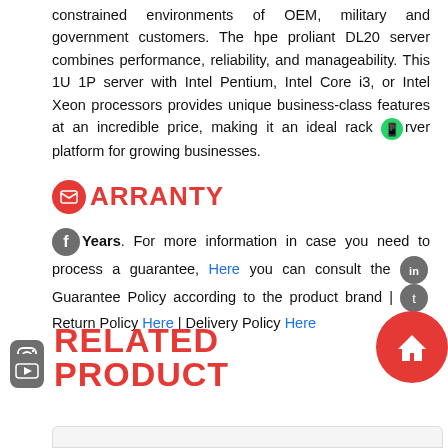constrained environments of OEM, military and government customers. The hpe proliant DL20 server combines performance, reliability, and manageability. This 1U 1P server with Intel Pentium, Intel Core i3, or Intel Xeon processors provides unique business-class features at an incredible price, making it an ideal rack server platform for growing businesses.
WARRANTY
Years. For more information in case you need to process a guarantee, Here you can consult the Guarantee Policy according to the product brand | Return Policy Here | Delivery Policy Here
RELATED PRODUCTS